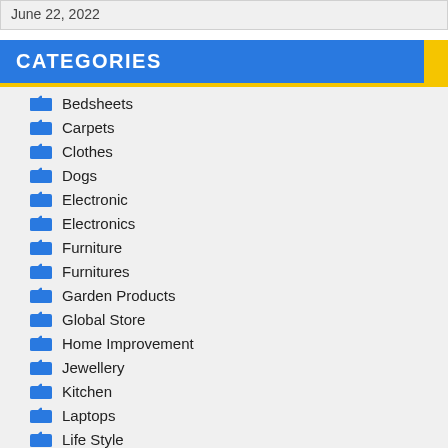June 22, 2022
CATEGORIES
Bedsheets
Carpets
Clothes
Dogs
Electronic
Electronics
Furniture
Furnitures
Garden Products
Global Store
Home Improvement
Jewellery
Kitchen
Laptops
Life Style
Makeup
Mobile Phones